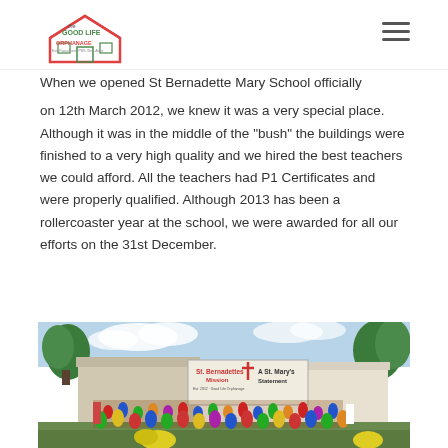The Good Life Orphanage
When we opened St Bernadette Mary School officially on 12th March 2012, we knew it was a very special place. Although it was in the middle of the "bush" the buildings were finished to a very high quality and we hired the best teachers we could afford. All the teachers had P1 Certificates and were properly qualified. Although 2013 has been a rollercoaster year at the school, we were awarded for all our efforts on the 31st December.
[Figure (photo): Group photo of students and teachers gathered in front of St Bernadette Mission A St. Mary's Statement school building sign, surrounded by trees and a school building on the right.]